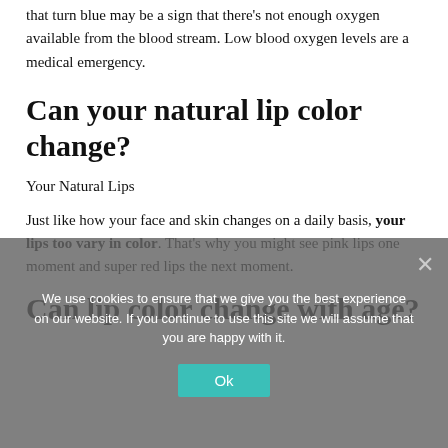that turn blue may be a sign that there's not enough oxygen available from the blood stream. Low blood oxygen levels are a medical emergency.
Can your natural lip color change?
Your Natural Lips
Just like how your face and skin changes on a daily basis, your lips too vary in color. That's why you might see pink lips one moment and super red lips the next moment.
Can lip color change with age?
We use cookies to ensure that we give you the best experience on our website. If you continue to use this site we will assume that you are happy with it.